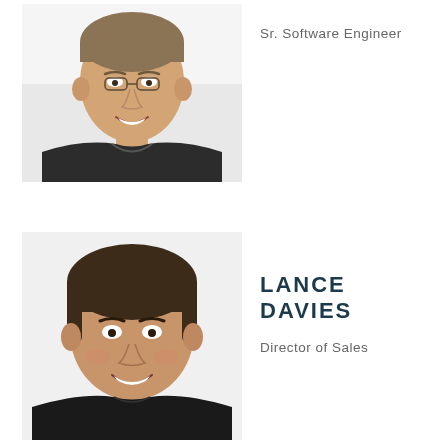[Figure (photo): Headshot of a young smiling man with short hair wearing a dark t-shirt, white background]
Sr. Software Engineer
[Figure (photo): Headshot of a smiling person with dark hair wearing a dark shirt, white background]
LANCE DAVIES
Director of Sales